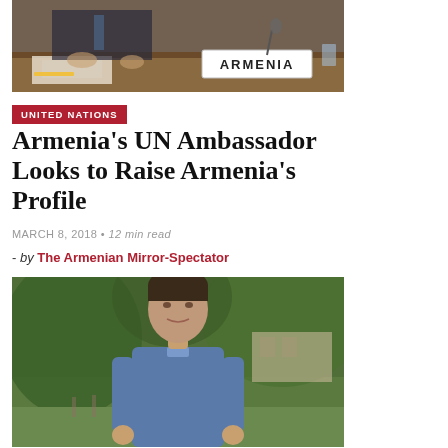[Figure (photo): Man in suit at UN meeting table with ARMENIA nameplate sign]
UNITED NATIONS
Armenia's UN Ambassador Looks to Raise Armenia's Profile
MARCH 8, 2018 • 12 min read
- by The Armenian Mirror-Spectator
[Figure (photo): Man in blue checkered shirt standing outdoors with green trees in background]